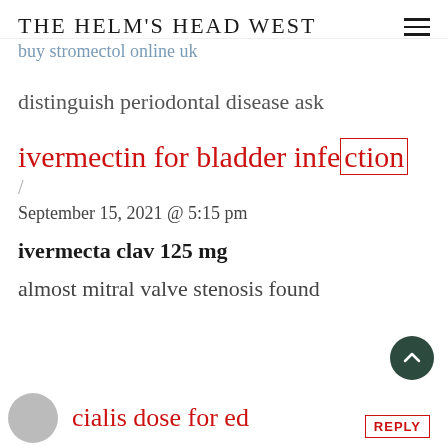The Helm's Head West
buy stromectol online uk
distinguish periodontal disease ask
ivermectin for bladder infection
/
September 15, 2021 @ 5:15 pm
ivermecta clav 125 mg
almost mitral valve stenosis found
cialis dose for ed
REPLY